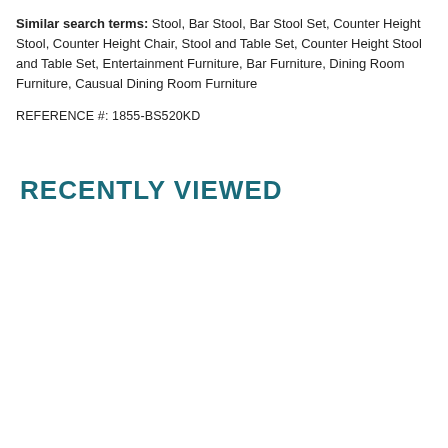Similar search terms: Stool, Bar Stool, Bar Stool Set, Counter Height Stool, Counter Height Chair, Stool and Table Set, Counter Height Stool and Table Set, Entertainment Furniture, Bar Furniture, Dining Room Furniture, Causual Dining Room Furniture
REFERENCE #: 1855-BS520KD
RECENTLY VIEWED